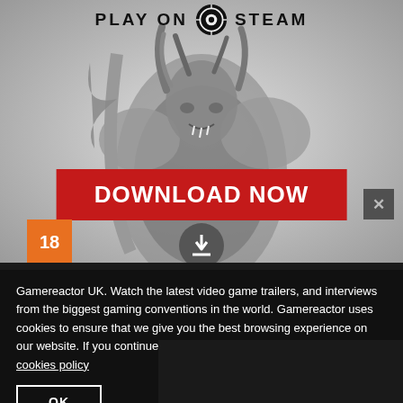[Figure (screenshot): Advertisement banner showing a warrior/demon character in black and white armor wielding a bloody weapon, with 'PLAY ON STEAM' header and 'DOWNLOAD NOW' red button, plus a close X button and orange badge, on a gray background.]
PLAY ON STEAM
DOWNLOAD NOW
Gamereactor UK. Watch the latest video game trailers, and interviews from the biggest gaming conventions in the world. Gamereactor uses cookies to ensure that we give you the best browsing experience on our website. If you continue, we'll assume that you are happy with our cookies policy
OK